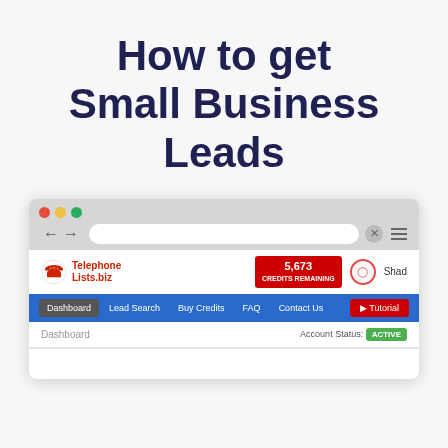How to get Small Business Leads
[Figure (screenshot): Browser screenshot showing the TelephoneLists.biz website dashboard. The browser chrome shows red/yellow/green traffic lights, an address bar, and navigation icons. The website shows a logo, credits badge showing 5,673, a blue navigation bar with Dashboard, Lead Search, Buy Credits, FAQ, Contact Us links and a red Tutorial button. Below is a Dashboard page with Account Status: Active.]